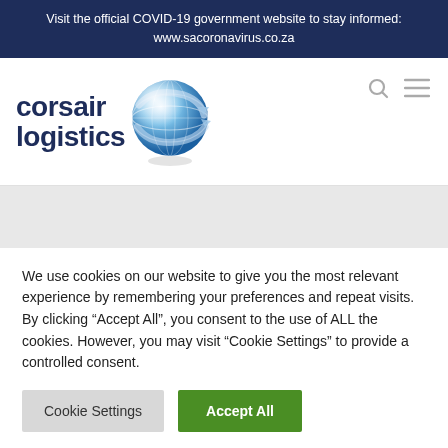Visit the official COVID-19 government website to stay informed: www.sacoronavirus.co.za
[Figure (logo): Corsair Logistics company logo with dark blue stylized text 'corsair logistics' and a metallic blue globe icon]
We use cookies on our website to give you the most relevant experience by remembering your preferences and repeat visits. By clicking “Accept All”, you consent to the use of ALL the cookies. However, you may visit “Cookie Settings” to provide a controlled consent.
Cookie Settings | Accept All